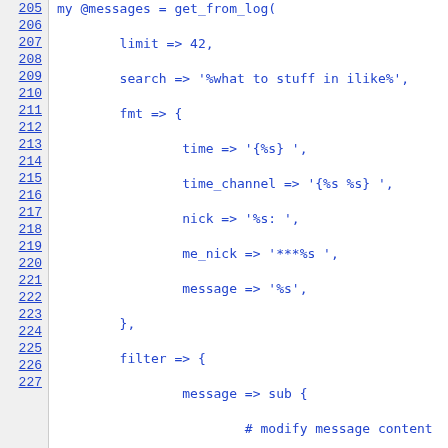[Figure (screenshot): Code listing showing Perl code lines 205-226 with line numbers in a monospace font. Lines 205-223 show a function call to get_from_log() with parameters limit, search, fmt (with sub-fields time, time_channel, nick, me_nick, message), filter (with message sub), context, and full_rows. Lines 225-226 show a text comment about order of fields.]